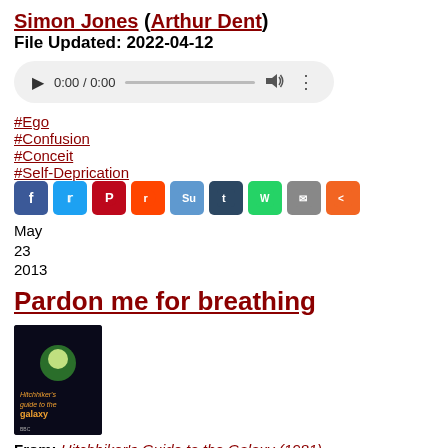Simon Jones (Arthur Dent)
File Updated: 2022-04-12
[Figure (other): Audio player widget showing 0:00 / 0:00 with play button, progress bar, volume icon, and more options icon]
#Ego
#Confusion
#Conceit
#Self-Deprication
[Figure (other): Social sharing icons: Facebook, Twitter, Pinterest, Reddit, StumbleUpon, Tumblr, WhatsApp, Email, Share]
May
23
2013
Pardon me for breathing
[Figure (photo): Book cover of Hitchhiker's Guide to the Galaxy (1981) — dark background with illustrated characters]
From: Hitchhiker's Guide to the Galaxy (1981)